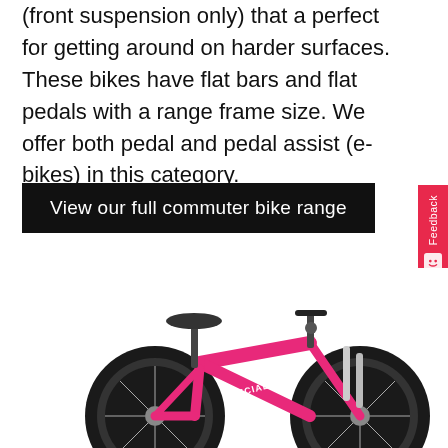(front suspension only) that a perfect for getting around on harder surfaces. These bikes have flat bars and flat pedals with a range frame size. We offer both pedal and pedal assist (e-bikes) in this category.
View our full commuter bike range
[Figure (photo): A pink Specialized children's mountain bike with wide tires, disc brakes, and front suspension, photographed against a white background.]